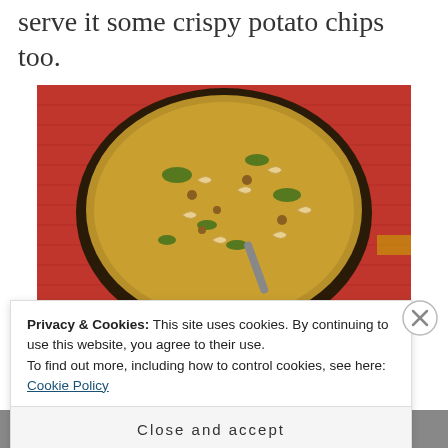serve it some crispy potato chips too.
[Figure (photo): Overhead view of an Indian spiced rice dish in a dark round pan, garnished with cashews and herbs, placed on a red textured tablecloth. A small bowl is visible at the bottom.]
Privacy & Cookies: This site uses cookies. By continuing to use this website, you agree to their use.
To find out more, including how to control cookies, see here: Cookie Policy
Close and accept